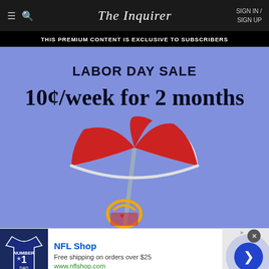The Inquirer — SIGN IN / SIGN UP
THIS PREMIUM CONTENT IS EXCLUSIVE TO SUBSCRIBERS
[Figure (illustration): Labor Day Sale promotional banner with blue background showing '10¢/week for 2 months' and a beach umbrella illustration with red and white panels, a bucket, and beach items]
NFL Shop — Free shipping on orders over $25 — www.nflshop.com